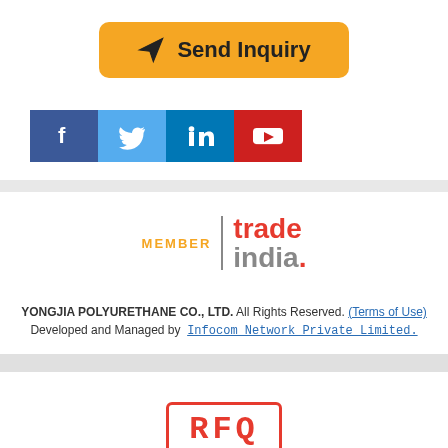[Figure (other): Yellow 'Send Inquiry' button with paper airplane icon]
[Figure (other): Social media icons bar: Facebook (blue), Twitter (light blue), LinkedIn (dark blue), YouTube (red)]
[Figure (logo): TradeIndia member logo: MEMBER | trade india. in red and grey]
YONGJIA POLYURETHANE CO., LTD. All Rights Reserved. (Terms of Use)
Developed and Managed by  Infocom Network Private Limited.
[Figure (other): RFQ stamp graphic in red border with red bold text]